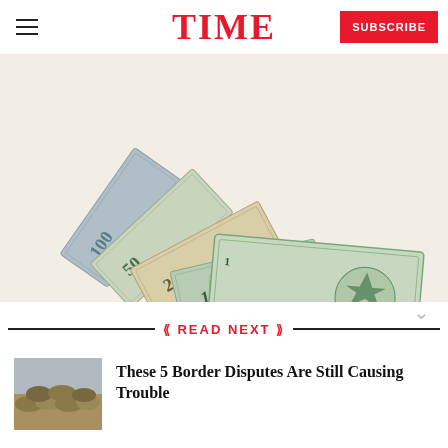TIME
[Figure (photo): Fan of US dollar bills (100, 50, 20, 10, 5, 1 dollar notes) spread out on white background]
READ NEXT
[Figure (photo): Thumbnail image showing sandbags or a barricade at a border area]
These 5 Border Disputes Are Still Causing Trouble